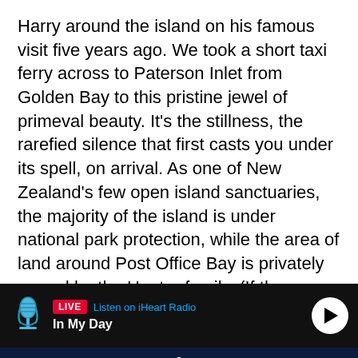Harry around the island on his famous visit five years ago. We took a short taxi ferry across to Paterson Inlet from Golden Bay to this pristine jewel of primeval beauty. It's the stillness, the rarefied silence that first casts you under its spell, on arrival. As one of New Zealand's few open island sanctuaries, the majority of the island is under national park protection, while the area of land around Post Office Bay is privately owned by the Hunter family. (If they ever want to sell, DOC is the only legal buyer.)
The Post Office is still there, built by Charles Traill in 1872, the same man who had the courageous foresight to protect Ulva Island as a bird sanctuary. He was a respected naturalist and botanist, although the exotics he planted on the island was a misguided endeavour in diversity. Matt
[Figure (screenshot): Live radio bar showing a microphone icon, LIVE badge in red, 'Listen on iHeart Radio' in blue, show title 'In My Day', and a white circular play button, all on a black background.]
[Figure (screenshot): Mobile app bottom navigation bar with dark navy background showing five icons: Home (house), Shows (screen with circle), Podcasts (microphone), News (newspaper), Menu (hamburger lines), each with white label text below.]